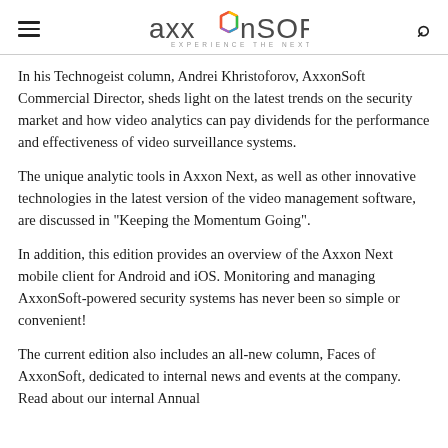AxxonSoft — Experience The Next
In his Technogeist column, Andrei Khristoforov, AxxonSoft Commercial Director, sheds light on the latest trends on the security market and how video analytics can pay dividends for the performance and effectiveness of video surveillance systems.
The unique analytic tools in Axxon Next, as well as other innovative technologies in the latest version of the video management software, are discussed in "Keeping the Momentum Going".
In addition, this edition provides an overview of the Axxon Next mobile client for Android and iOS. Monitoring and managing AxxonSoft-powered security systems has never been so simple or convenient!
The current edition also includes an all-new column, Faces of AxxonSoft, dedicated to internal news and events at the company. Read about our internal Annual